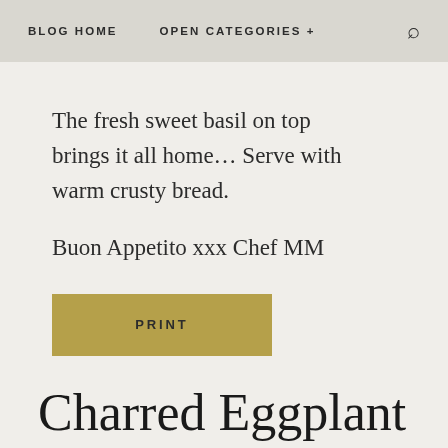BLOG HOME   OPEN CATEGORIES +   🔍
The fresh sweet basil on top brings it all home… Serve with warm crusty bread.
Buon Appetito xxx Chef MM
PRINT
Charred Eggplant Zucchini & Garlic...